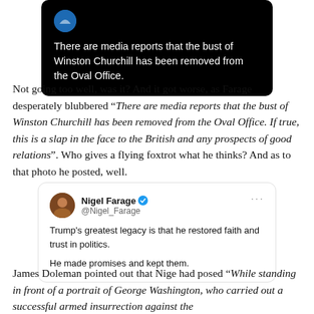[Figure (screenshot): Screenshot of a tweet/post with dark background showing text: 'There are media reports that the bust of Winston Churchill has been removed from the Oval Office.']
Not going too well, was it? And it got worse, as Farage desperately blubbered “There are media reports that the bust of Winston Churchill has been removed from the Oval Office. If true, this is a slap in the face to the British and any prospects of good relations”. Who gives a flying foxtrot what he thinks? And as to that photo he posted, well.
[Figure (screenshot): Screenshot of a tweet by Nigel Farage (@Nigel_Farage) with verified badge. Text: 'Trump’s greatest legacy is that he restored faith and trust in politics. He made promises and kept them.']
James Doleman pointed out that Nige had posed “While standing in front of a portrait of George Washington, who carried out a successful armed insurrection against the